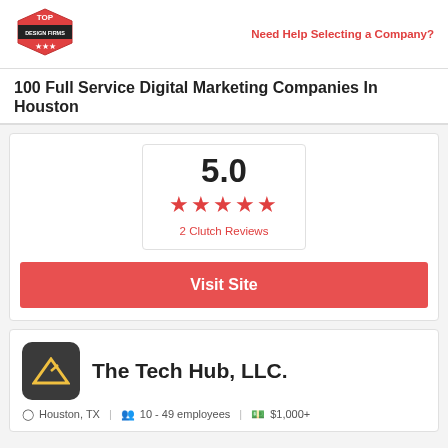Need Help Selecting a Company?
100 Full Service Digital Marketing Companies In Houston
5.0
2 Clutch Reviews
Visit Site
The Tech Hub, LLC.
Houston, TX   10 - 49 employees   $1,000+